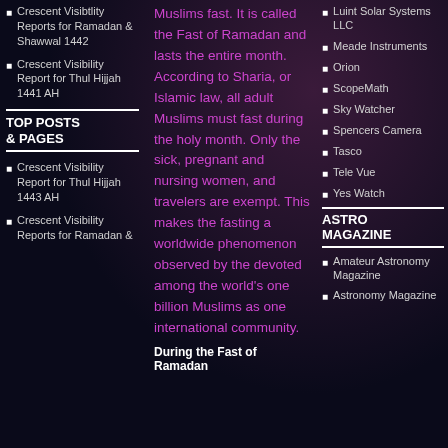Crescent Visibtlity Reports for Ramadan & Shawwal 1442
Crescent Visibility Report for Thul Hijjah 1441 AH
TOP POSTS & PAGES
Crescent Visibility Report for Thul Hijjah 1443 AH
Crescent Visibility Reports for Ramadan &
Muslims fast. It is called the Fast of Ramadan and lasts the entire month. According to Sharia, or Islamic law, all adult Muslims must fast during the holy month. Only the sick, pregnant and nursing women, and travelers are exempt. This makes the fasting a worldwide phenomenon observed by the devoted among the world's one billion Muslims as one international community.
During the Fast of Ramadan
Luint Solar Systems LLC
Meade Instruments
Orion
ScopeMath
Sky Watcher
Spencers Camera
Tasco
Tele Vue
Yes Watch
ASTRO MAGAZINE
Amateur Astronomy Magazine
Astronomy Magazine